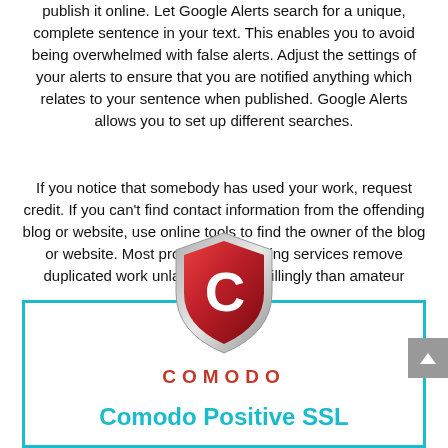publish it online. Let Google Alerts search for a unique, complete sentence in your text. This enables you to avoid being overwhelmed with false alerts. Adjust the settings of your alerts to ensure that you are notified anything which relates to your sentence when published. Google Alerts allows you to set up different searches.
If you notice that somebody has used your work, request credit. If you can't find contact information from the offending blog or website, use online tools to find the owner of the blog or website. Most providers of hosting services remove duplicated work unlawfully more willingly than amateur webmasters.
[Figure (logo): Comodo shield logo — red shield with white letter C, and below it the word COMODO in red bold capital letters with wide letter-spacing]
Comodo Positive SSL